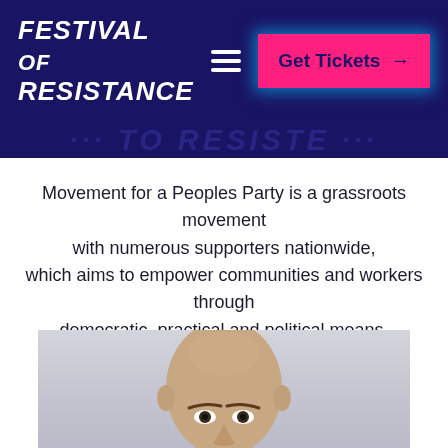FESTIVAL OF RESISTANCE
FESTIVAL OF RESISTANCE
Movement for a Peoples Party is a grassroots movement with numerous supporters nationwide, which aims to empower communities and workers through democratic, practical and political means.
[Figure (photo): Portrait photo of a bald man, cropped to show head and upper face, against a light grey/white background]